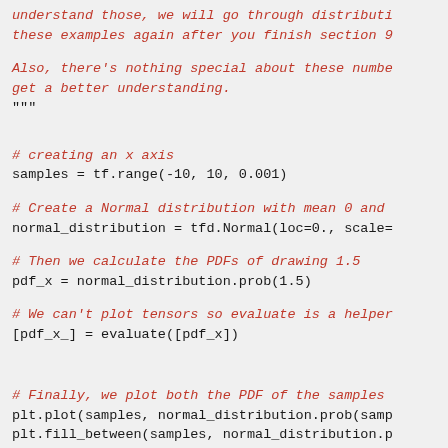understand those, we will go through distributi these examples again after you finish section 9
Also, there's nothing special about these numbe get a better understanding.
"""
# creating an x axis
samples = tf.range(-10, 10, 0.001)
# Create a Normal distribution with mean 0 and
normal_distribution = tfd.Normal(loc=0.,  scale=
# Then we calculate the PDFs of drawing 1.5
pdf_x = normal_distribution.prob(1.5)
# We can't plot tensors so evaluate is a helper
[pdf_x_] = evaluate([pdf_x])
# Finally, we plot both the PDF of the samples
plt.plot(samples, normal_distribution.prob(samp
plt.fill_between(samples, normal_distribution.p
plt.bar(1.5, pdf_x_, color=color_o)
plt.grid()
print("Probability of drawing 1.5 = {:4}% from